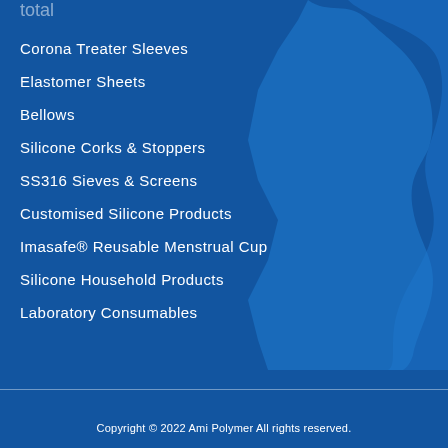[Figure (map): Silhouette map shape in a lighter blue on the right side of the page background]
Corona Treater Sleeves
Elastomer Sheets
Bellows
Silicone Corks & Stoppers
SS316 Sieves & Screens
Customised Silicone Products
Imasafe® Reusable Menstrual Cup
Silicone Household Products
Laboratory Consumables
Copyright © 2022 Ami Polymer All rights reserved.